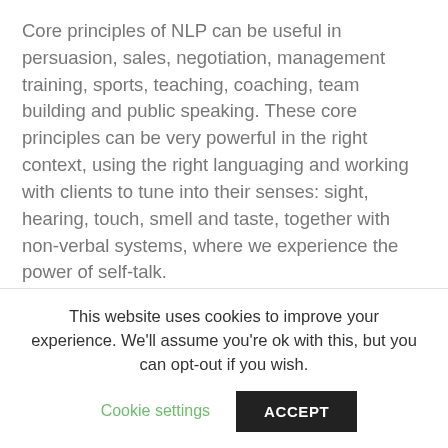Core principles of NLP can be useful in persuasion, sales, negotiation, management training, sports, teaching, coaching, team building and public speaking. These core principles can be very powerful in the right context, using the right languaging and working with clients to tune into their senses: sight, hearing, touch, smell and taste, together with non-verbal systems, where we experience the power of self-talk.
Using the NLP communication model a practitioner can better understand and work with clients as to how they might respond to an external event, something which is communicated to the client. How...
This website uses cookies to improve your experience. We'll assume you're ok with this, but you can opt-out if you wish.
Cookie settings
ACCEPT